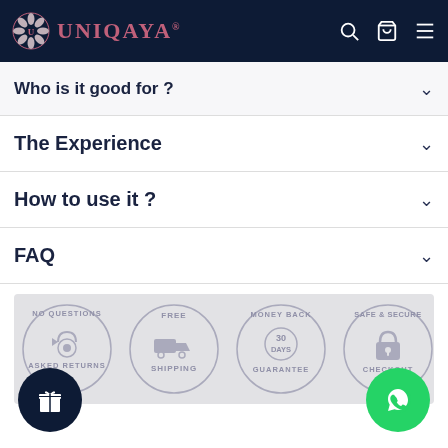UNIQAYA
Who is it good for ?
The Experience
How to use it ?
FAQ
[Figure (infographic): Four circular trust badges: NO QUESTIONS ASKED RETURNS, FREE SHIPPING, MONEY BACK 30 DAYS GUARANTEE, SAFE & SECURE CHECKOUT]
[Figure (illustration): Dark navy gift box floating button (bottom left)]
[Figure (illustration): Green WhatsApp floating button (bottom right)]